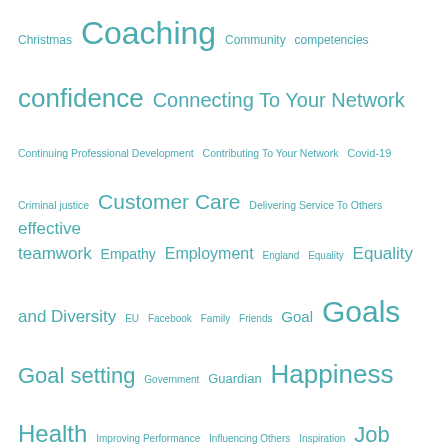[Figure (other): Word cloud featuring topics related to coaching, personal development, leadership, and wellbeing. Words appear in varying font sizes in teal/blue-green color on white background. Larger words include: Coaching, confidence, Connecting To Your Network, Goals, Goal setting, Happiness, Health, Leadership, Management, Mental health, Job satisfaction. Smaller words include: Christmas, Community, competencies, Continuing Professional Development, Contributing To Your Network, Covid-19, Criminal justice, Customer Care, Delivering Service To Others, effective teamwork, Empathy, Employment, England, Equality, Equality and Diversity, EU, Facebook, Family, Friends, Goal, Government, Guardian, Improving Performance, Influencing Others, Inspiration, Job Search, Life Planning, London, Men, Mindfulness, Network, Olympic Games, Online Communities, Personal Growth.]